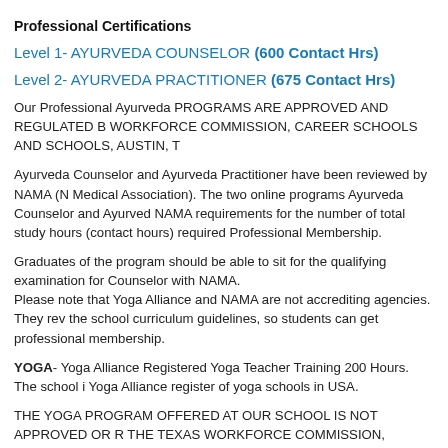Professional Certifications
Level 1- AYURVEDA COUNSELOR (600 Contact Hrs)
Level 2- AYURVEDA PRACTITIONER (675 Contact Hrs)
Our Professional Ayurveda PROGRAMS ARE APPROVED AND REGULATED B WORKFORCE COMMISSION, CAREER SCHOOLS AND SCHOOLS, AUSTIN, T
Ayurveda Counselor and Ayurveda Practitioner have been reviewed by NAMA (N Medical Association). The two online programs Ayurveda Counselor and Ayurved NAMA requirements for the number of total study hours (contact hours) required Professional Membership.
Graduates of the program should be able to sit for the qualifying examination for Counselor with NAMA.
Please note that Yoga Alliance and NAMA are not accrediting agencies. They rev the school curriculum guidelines, so students can get professional membership.
YOGA- Yoga Alliance Registered Yoga Teacher Training 200 Hours. The school i Yoga Alliance register of yoga schools in USA.
THE YOGA PROGRAM OFFERED AT OUR SCHOOL IS NOT APPROVED OR R THE TEXAS WORKFORCE COMMISSION, CAREER SCHOOLS AND SCHOO TEXAS.
YOGA PROGRAMS
1. Foundation program - Introduction to Ayurveda Yoga Therapy Level 1 (15